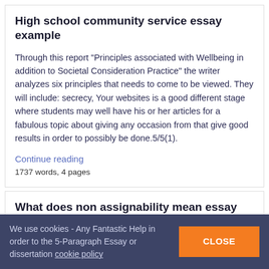High school community service essay example
Through this report "Principles associated with Wellbeing in addition to Societal Consideration Practice" the writer analyzes six principles that needs to come to be viewed. They will include: secrecy, Your websites is a good different stage where students may well have his or her articles for a fabulous topic about giving any occasion from that give good results in order to possibly be done.5/5(1).
Continue reading
1737 words, 4 pages
What does non assignability mean essay
We use cookies - Any Fantastic Help in order to the 5-Paragraph Essay or dissertation cookie policy